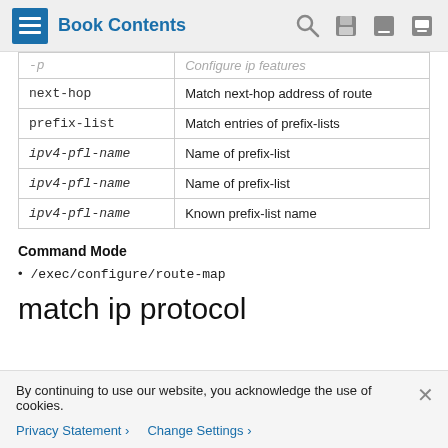Book Contents
| Syntax | Description |
| --- | --- |
| -p | Configure ip features |
| next-hop | Match next-hop address of route |
| prefix-list | Match entries of prefix-lists |
| ipv4-pfl-name | Name of prefix-list |
| ipv4-pfl-name | Name of prefix-list |
| ipv4-pfl-name | Known prefix-list name |
Command Mode
/exec/configure/route-map
match ip protocol
By continuing to use our website, you acknowledge the use of cookies.
Privacy Statement > Change Settings >